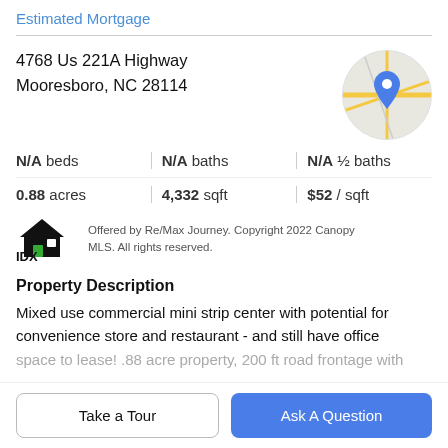Estimated Mortgage
4768 Us 221A Highway
Mooresboro, NC 28114
[Figure (map): Circular map thumbnail showing a blue location pin over a street map]
| N/A beds | N/A baths | N/A ½ baths |
| 0.88 acres | 4,332 sqft | $52 / sqft |
[Figure (logo): IDX house logo in black with green accent]
Offered by Re/Max Journey. Copyright 2022 Canopy MLS. All rights reserved.
Property Description
Mixed use commercial mini strip center with potential for convenience store and restaurant - and still have office space to lease! .88 acre property, 200 ft road frontage with
Take a Tour
Ask A Question